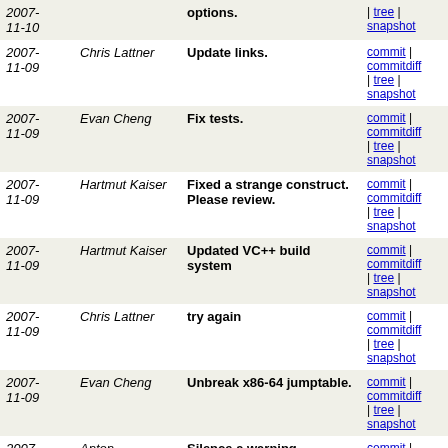| Date | Author | Message | Links |
| --- | --- | --- | --- |
| 2007-11-10 |  | options. | tree | snapshot |
| 2007-11-09 | Chris Lattner | Update links. | commit | commitdiff | tree | snapshot |
| 2007-11-09 | Evan Cheng | Fix tests. | commit | commitdiff | tree | snapshot |
| 2007-11-09 | Hartmut Kaiser | Fixed a strange construct. Please review. | commit | commitdiff | tree | snapshot |
| 2007-11-09 | Hartmut Kaiser | Updated VC++ build system | commit | commitdiff | tree | snapshot |
| 2007-11-09 | Chris Lattner | try again | commit | commitdiff | tree | snapshot |
| 2007-11-09 | Evan Cheng | Unbreak x86-64 jumptable. | commit | commitdiff | tree | snapshot |
| 2007-11-09 | Anton Korobeynikov | Silence a warning | commit | commitdiff | tree | snapshot |
| 2007-11-09 | Dale Johannesen | Revert previous rewrite per chris's comments. | commit | commitdiff | tree | snapshot |
| 2007-11-09 | Chris Lattner | Tighten up a check for folding away loads from (newly... | commit | commitdiff | tree | snapshot |
| 2007-11-09 | Duncan Sands | Thanks to the XTARGET line, this test should still | commit | commitdiff | tree |